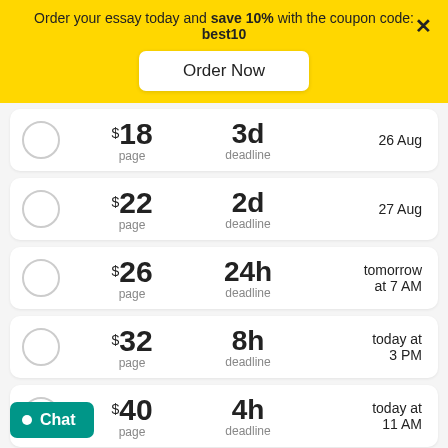Order your essay today and save 10% with the coupon code: best10
Order Now
$18 page | 3d deadline | 26 Aug
$22 page | 2d deadline | 27 Aug
$26 page | 24h deadline | tomorrow at 7 AM
$32 page | 8h deadline | today at 3 PM
$40 page | 4h deadline | today at 11 AM
Chat